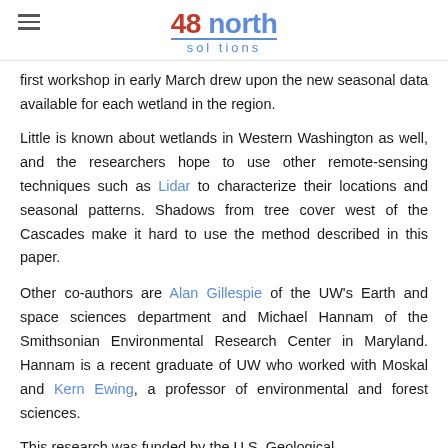48 north solutions
first workshop in early March drew upon the new seasonal data available for each wetland in the region.
Little is known about wetlands in Western Washington as well, and the researchers hope to use other remote-sensing techniques such as Lidar to characterize their locations and seasonal patterns. Shadows from tree cover west of the Cascades make it hard to use the method described in this paper.
Other co-authors are Alan Gillespie of the UW's Earth and space sciences department and Michael Hannam of the Smithsonian Environmental Research Center in Maryland. Hannam is a recent graduate of UW who worked with Moskal and Kern Ewing, a professor of environmental and forest sciences.
This research was funded by the U.S. Geological